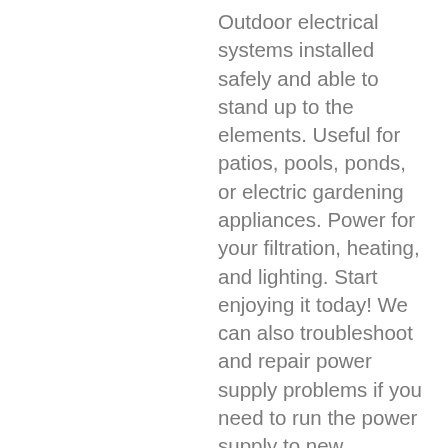Outdoor electrical systems installed safely and able to stand up to the elements. Useful for patios, pools, ponds, or electric gardening appliances. Power for your filtration, heating, and lighting. Start enjoying it today! We can also troubleshoot and repair power supply problems if you need to run the power supply to new locations or to correct problems. If you would like to make your garage, workshop, or studio easier to work in, install motion-sensor security lights